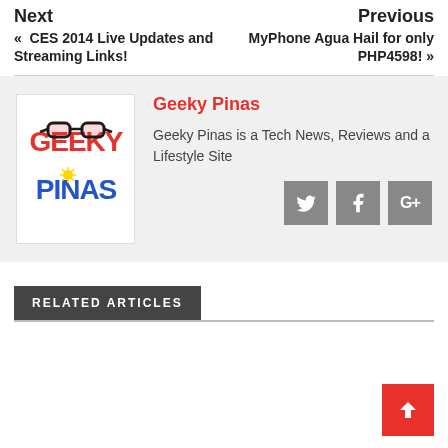Next
« CES 2014 Live Updates and Streaming Links!
Previous
MyPhone Agua Hail for only PHP4598! »
[Figure (logo): Geeky Pinas logo with red 'GEEKY' text, blue 'PINAS' text, and glasses icon]
Geeky Pinas
Geeky Pinas is a Tech News, Reviews and a Lifestyle Site
[Figure (infographic): Social media icons: Twitter, Facebook, Google+]
RELATED ARTICLES